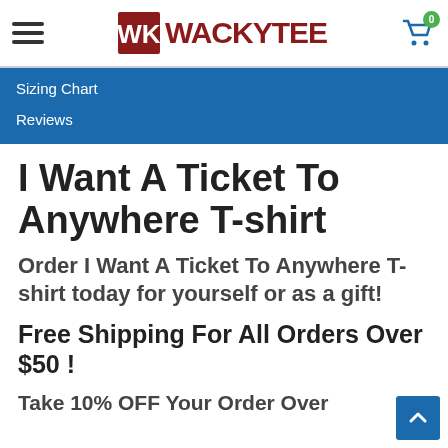WACKYTEE
Sizing Chart
Reviews
I Want A Ticket To Anywhere T-shirt
Order I Want A Ticket To Anywhere T-shirt today for yourself or as a gift!
Free Shipping For All Orders Over $50 !
Take 10% OFF Your Order Over